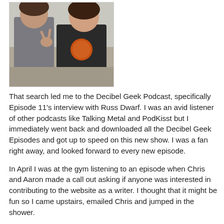[Figure (photo): Two people posing together outdoors at a restaurant or patio setting. One person is wearing a dark t-shirt with an orange graphic logo and making a hand gesture.]
That search led me to the Decibel Geek Podcast, specifically Episode 11's interview with Russ Dwarf. I was an avid listener of other podcasts like Talking Metal and PodKisst but I immediately went back and downloaded all the Decibel Geek Episodes and got up to speed on this new show. I was a fan right away, and looked forward to every new episode.
In April I was at the gym listening to an episode when Chris and Aaron made a call out asking if anyone was interested in contributing to the website as a writer. I thought that it might be fun so I came upstairs, emailed Chris and jumped in the shower.
Ten minutes later, Chris and I are emailing back and forth and suddenly I am a writer for the Decibel Geek. I was shocked, a little nervous but if there is one topic that I can write about, it's heavy metal music and so I jumped in.